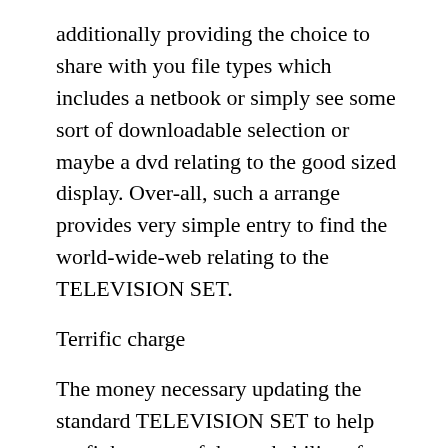additionally providing the choice to share with you file types which includes a netbook or simply see some sort of downloadable selection or maybe a dvd relating to the good sized display. Over-all, such a arrange provides very simple entry to find the world-wide-web relating to the TELEVISION SET.
Terrific charge
The money necessary updating the standard TELEVISION SET to help profit by most of the probability of Google android is usually comparatively low-cost as compared to investing in clever TELEVISION SET. And, that mixed usual TELEVISION SET together with Google android TELEVISION SET container will offer upwards of some sort of separate clever TELEVISION SET.
Usual tweets
That Google android computer is usually current constantly, which translates to mean the hottest edition